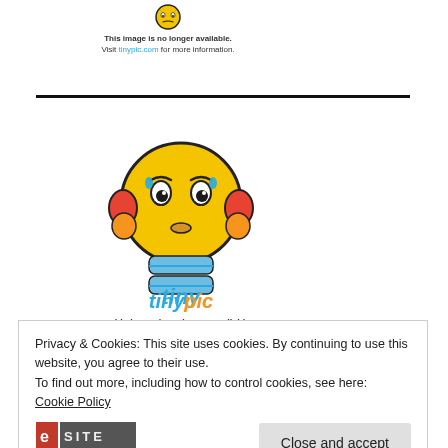[Figure (illustration): Tinypic 'image no longer available' notice with small icon at top of page]
This image is no longer available.
Visit tinypic.com for more information.
[Figure (illustration): Tinypic mascot emoji character (yellow worried face with orange ears and blue hands) with tinypic logo text. Below: 'This image is no longer available. Visit tinypic.com for more information.']
Privacy & Cookies: This site uses cookies. By continuing to use this website, you agree to their use.
To find out more, including how to control cookies, see here:
Cookie Policy
Close and accept